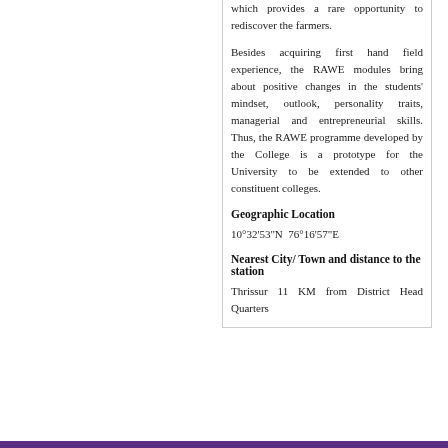which provides a rare opportunity to rediscover the farmers.
Besides acquiring first hand field experience, the RAWE modules bring about positive changes in the students' mindset, outlook, personality traits, managerial and entrepreneurial skills. Thus, the RAWE programme developed by the College is a prototype for the University to be extended to other constituent colleges.
Geographic Location
10°32'53"N  76°16'57"E
Nearest City/ Town and distance to the station
Thrissur 11 KM from District Head Quarters